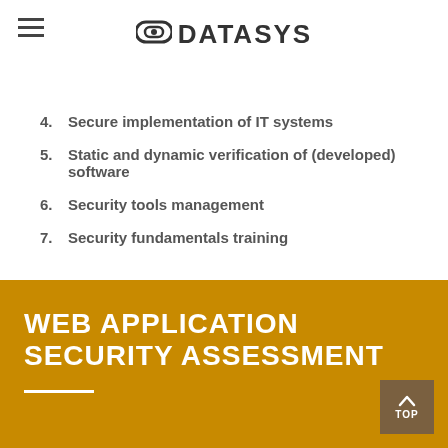DATASYS
4.  Secure implementation of IT systems
5.  Static and dynamic verification of (developed) software
6.  Security tools management
7.  Security fundamentals training
WEB APPLICATION SECURITY ASSESSMENT